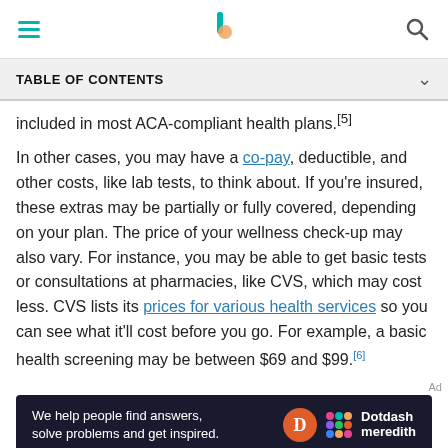[Navigation bar with hamburger menu, Verywell Health logo, and search icon]
TABLE OF CONTENTS
included in most ACA-compliant health plans.[5]
In other cases, you may have a co-pay, deductible, and other costs, like lab tests, to think about. If you're insured, these extras may be partially or fully covered, depending on your plan. The price of your wellness check-up may also vary. For instance, you may be able to get basic tests or consultations at pharmacies, like CVS, which may cost less. CVS lists its prices for various health services so you can see what it'll cost before you go. For example, a basic health screening may be between $69 and $99.[6]
[Figure (other): Dotdash Meredith advertisement banner: 'We help people find answers, solve problems and get inspired.' with Dotdash Meredith logo]